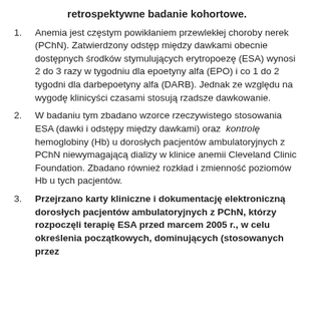retrospektywne badanie kohortowe.
Anemia jest częstym powikłaniem przewlekłej choroby nerek (PChN). Zatwierdzony odstęp między dawkami obecnie dostępnych środków stymulujących erytropoezę (ESA) wynosi 2 do 3 razy w tygodniu dla epoetyny alfa (EPO) i co 1 do 2 tygodni dla darbepoetyny alfa (DARB). Jednak ze względu na wygodę klinicyści czasami stosują rzadsze dawkowanie.
W badaniu tym zbadano wzorce rzeczywistego stosowania ESA (dawki i odstępy między dawkami) oraz kontrolę hemoglobiny (Hb) u dorosłych pacjentów ambulatoryjnych z PChN niewymagającą dializy w klinice anemii Cleveland Clinic Foundation. Zbadano również rozkład i zmienność poziomów Hb u tych pacjentów.
Przejrzano karty kliniczne i dokumentację elektroniczną dorosłych pacjentów ambulatoryjnych z PChN, którzy rozpoczęli terapię ESA przed marcem 2005 r., w celu określenia początkowych, dominujących (stosowanych przez